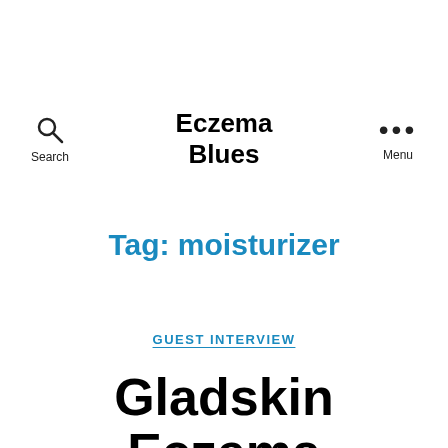Search | Eczema Blues | Menu
Tag: moisturizer
GUEST INTERVIEW
Gladskin Eczema Cream that